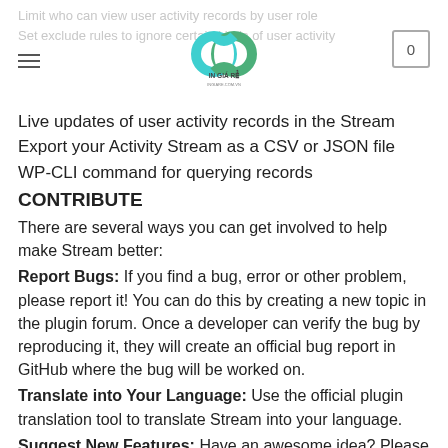Limit who can view user activity records by user role
Set exclude rules to ignore certain kinds of user activity
Live updates of user activity records in the Stream
Export your Activity Stream as a CSV or JSON file
WP-CLI command for querying records
CONTRIBUTE
There are several ways you can get involved to help make Stream better:
Report Bugs: If you find a bug, error or other problem, please report it! You can do this by creating a new topic in the plugin forum. Once a developer can verify the bug by reproducing it, they will create an official bug report in GitHub where the bug will be worked on.
Translate into Your Language: Use the official plugin translation tool to translate Stream into your language.
Suggest New Features: Have an awesome idea? Please share it! Simply create a new topic in the plugin forum to express your thoughts and maybe the features will be added in a future